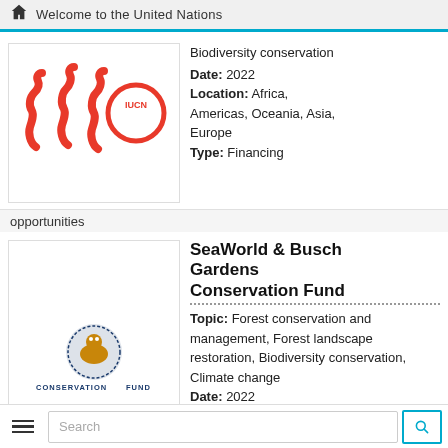Welcome to the United Nations
[Figure (logo): SDG and IUCN logo - red stylized figures with IUCN circle emblem]
Biodiversity conservation
Date: 2022
Location: Africa, Americas, Oceania, Asia, Europe
Type: Financing
opportunities
[Figure (logo): Conservation Fund logo with globe and wildlife emblem, text CONSERVATION FUND]
SeaWorld & Busch Gardens Conservation Fund
Topic: Forest conservation and management, Forest landscape restoration, Biodiversity conservation, Climate change
Date: 2022
Location: Africa,
Search